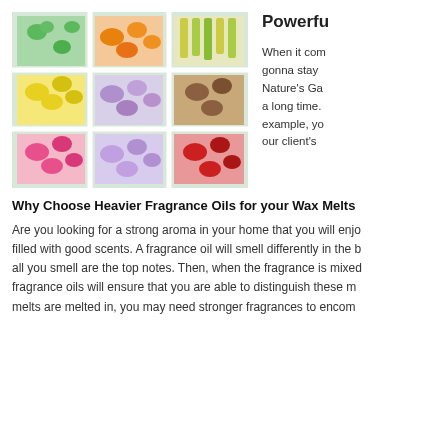[Figure (photo): A white divided box/tray containing colorful wax melt chunks in green, orange, yellow, pink, purple, red, and other colors arranged in a grid of compartments.]
Powerfu
When it com gonna stay Nature's Ga a long time. example, yo our client's
Why Choose Heavier Fragrance Oils for your Wax Melts
Are you looking for a strong aroma in your home that you will enjo filled with good scents. A fragrance oil will smell differently in the b all you smell are the top notes. Then, when the fragrance is mixed fragrance oils will ensure that you are able to distinguish these m melts are melted in, you may need stronger fragrances to encom